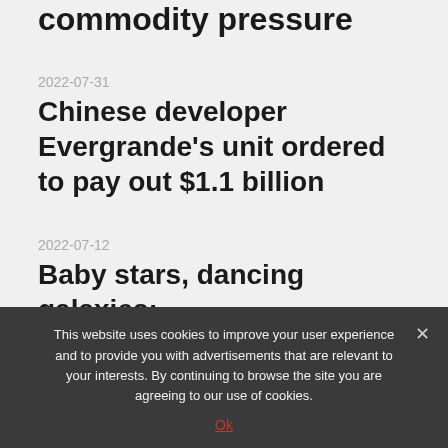commodity pressure
2022-07-31
Chinese developer Evergrande's unit ordered to pay out $1.1 billion
2022-07-12
Baby stars, dancing galaxies:
This website uses cookies to improve your user experience and to provide you with advertisements that are relevant to your interests. By continuing to browse the site you are agreeing to our use of cookies.
Ok